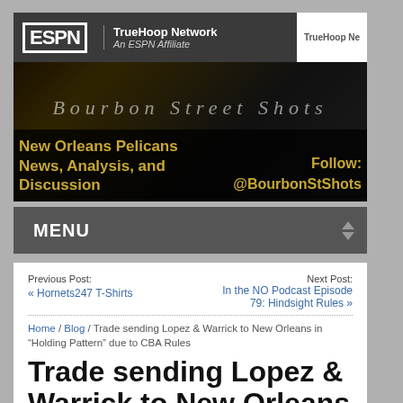[Figure (screenshot): ESPN TrueHoop Network affiliate banner with logo]
[Figure (photo): Bourbon Street Shots banner image with semi-transparent overlay text: 'Bourbon Street Shots', 'New Orleans Pelicans News, Analysis, and Discussion', 'Follow: @BourbonStShots']
MENU
Previous Post:
« Hornets247 T-Shirts

Next Post:
In the NO Podcast Episode 79: Hindsight Rules »
Home / Blog / Trade sending Lopez & Warrick to New Orleans in "Holding Pattern" due to CBA Rules
Trade sending Lopez & Warrick to New Orleans in “Holding Pattern” due to CBA